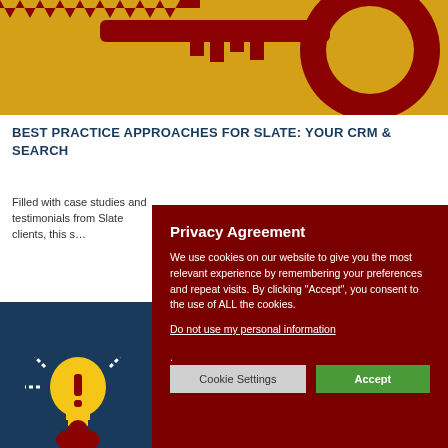[Figure (illustration): Gold and dark red decorative illustration with gear/key shapes on yellow background]
BEST PRACTICE APPROACHES FOR SLATE: YOUR CRM & SEARCH
Filled with case studies and testimonials from Slate clients, this s…
[Figure (illustration): Dark blue background with lightbulb and exclamation mark illustration]
Privacy Agreement

We use cookies on our website to give you the most relevant experience by remembering your preferences and repeat visits. By clicking “Accept”, you consent to the use of ALL the cookies.

Do not use my personal information.

[Cookie Settings] [Accept]